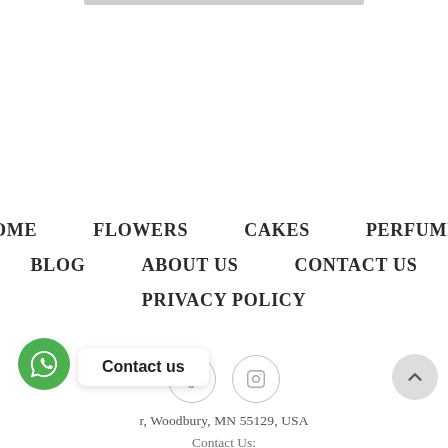HOME
FLOWERS
CAKES
PERFUMES
BLOG
ABOUT US
CONTACT US
PRIVACY POLICY
[Figure (illustration): Facebook and Instagram social media icon circles]
r, Woodbury, MN 55129, USA
Contact Us: